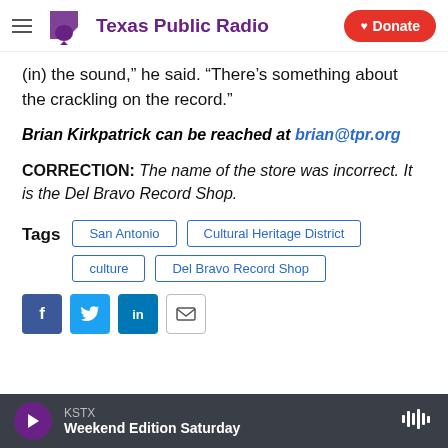Texas Public Radio | Donate
(in) the sound,” he said. “There’s something about the crackling on the record.”
Brian Kirkpatrick can be reached at brian@tpr.org
CORRECTION: The name of the store was incorrect. It is the Del Bravo Record Shop.
Tags: San Antonio | Cultural Heritage District | culture | Del Bravo Record Shop
[Figure (screenshot): Social sharing buttons: Facebook, Twitter, LinkedIn, Email]
KSTX / Weekend Edition Saturday (player bar)